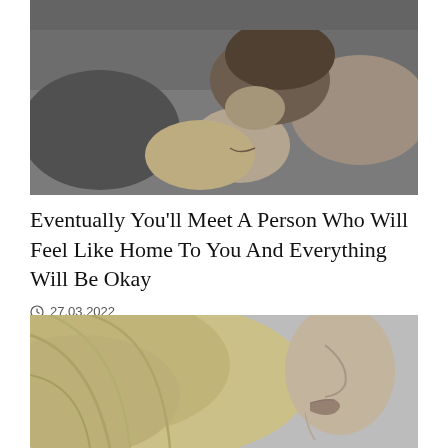[Figure (photo): Black and white photo of a couple lying down, the man leaning in to kiss the woman who has blonde hair and is smiling with eyes closed, pillows behind them]
Eventually You’ll Meet A Person Who Will Feel Like Home To You And Everything Will Be Okay
⌛ 27.03.2022
[Figure (photo): Black and white close-up photo of a blonde woman’s profile showing her hair and lips from the side]